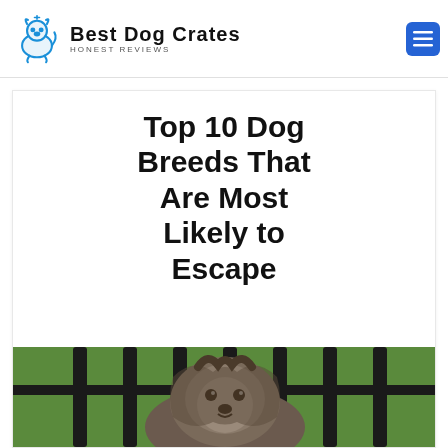Best Dog Crates — HONEST REVIEWS
Top 10 Dog Breeds That Are Most Likely to Escape
[Figure (photo): A dog peering through black metal fence bars with green grass visible in the background]